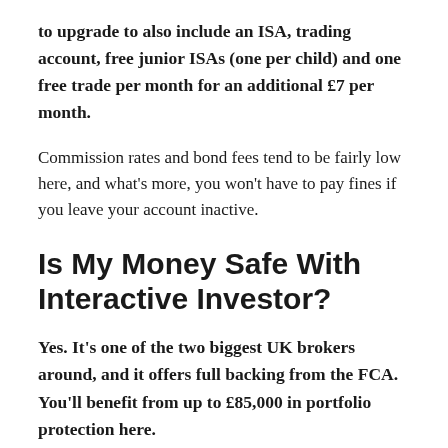to upgrade to also include an ISA, trading account, free junior ISAs (one per child) and one free trade per month for an additional £7 per month.
Commission rates and bond fees tend to be fairly low here, and what's more, you won't have to pay fines if you leave your account inactive.
Is My Money Safe With Interactive Investor?
Yes. It's one of the two biggest UK brokers around, and it offers full backing from the FCA. You'll benefit from up to £85,000 in portfolio protection here.